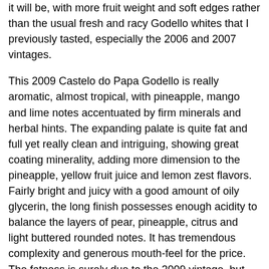it will be, with more fruit weight and soft edges rather than the usual fresh and racy Godello whites that I previously tasted, especially the 2006 and 2007 vintages.
This 2009 Castelo do Papa Godello is really aromatic, almost tropical, with pineapple, mango and lime notes accentuated by firm minerals and herbal hints. The expanding palate is quite fat and full yet really clean and intriguing, showing great coating minerality, adding more dimension to the pineapple, yellow fruit juice and lemon zest flavors. Fairly bright and juicy with a good amount of oily glycerin, the long finish possesses enough acidity to balance the layers of pear, pineapple, citrus and light buttered rounded notes. It has tremendous complexity and generous mouth-feel for the price. The fatness is surely due to the 2009 vintage, but also to the old vines factor and may be the fact that this wine may have spent a bit of time on its lees before bottling.
Overall, even without Malolactic fermentation, it feels really rounded and soft. I like this wine quite a bit, but I need to admit that previous vintage like 2007 corresponded more to